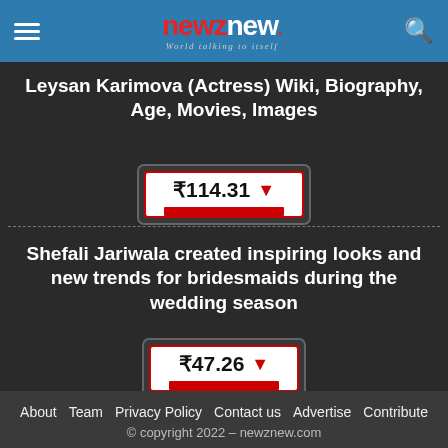newznew — World talking to itself
Leysan Karimova (Actress) Wiki, Biography, Age, Movies, Images
[Figure (other): Price widget showing ₹114.31 with a red downward arrow and red bar]
Shefali Jariwala created inspiring looks and new trends for bridesmaids during the wedding season
[Figure (other): Price widget showing ₹47.26 with a red downward arrow and red bar]
About  Team  Privacy Policy  Contact us  Advertise  Contribute  © copyright 2022 – newznew.com